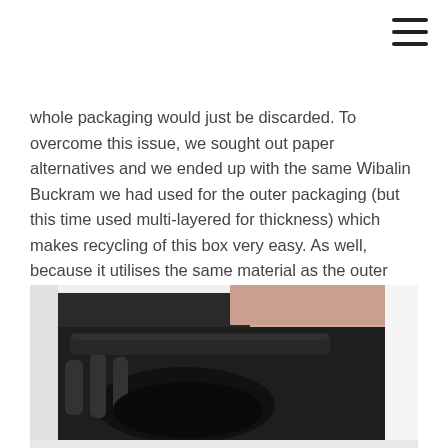[Figure (other): Hamburger menu icon (three horizontal lines) in top right corner]
whole packaging would just be discarded. To overcome this issue, we sought out paper alternatives and we ended up with the same Wibalin Buckram we had used for the outer packaging (but this time used multi-layered for thickness) which makes recycling of this box very easy. As well, because it utilises the same material as the outer box, it simplifies logistics and project management.
[Figure (photo): Close-up photograph of an open product packaging box showing a dark foam insert with a shaped cutout, a white outer box, and a light peach/rose gold colored inner surface visible at the top.]